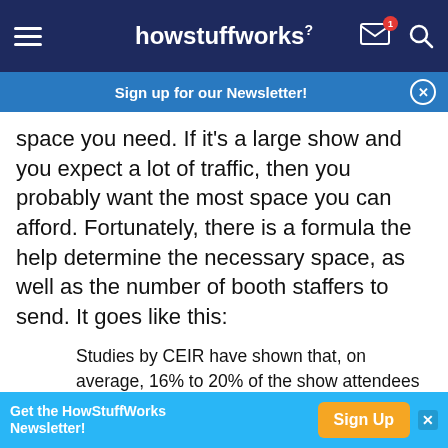howstuffworks
Sign up for our Newsletter!
space you need. If it's a large show and you expect a lot of traffic, then you probably want the most space you can afford. Fortunately, there is a formula the help determine the necessary space, as well as the number of booth staffers to send. It goes like this:
Studies by CEIR have shown that, on average, 16% to 20% of the show attendees will have a special interest in your products/services. Therefore, multiply the number of show attendees by .16 to get your "high interest attendees." Take this number and multiply it by
Get the HowStuffWorks Newsletter! Sign Up